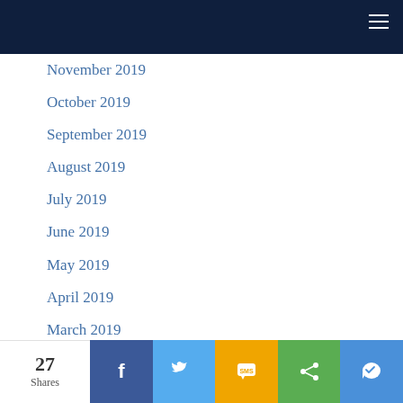November 2019
October 2019
September 2019
August 2019
July 2019
June 2019
May 2019
April 2019
March 2019
February 2019
January 2019
December 2018
27 Shares | Facebook | Twitter | SMS | Share | Messenger